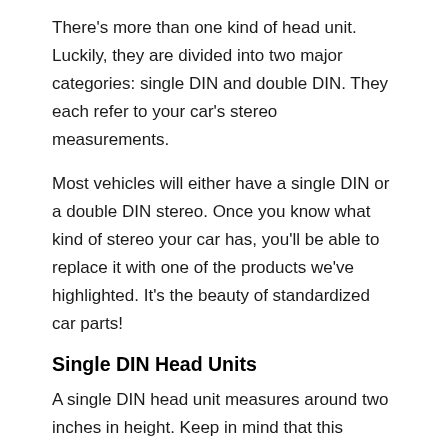There's more than one kind of head unit. Luckily, they are divided into two major categories: single DIN and double DIN. They each refer to your car's stereo measurements.
Most vehicles will either have a single DIN or a double DIN stereo. Once you know what kind of stereo your car has, you'll be able to replace it with one of the products we've highlighted. It's the beauty of standardized car parts!
Single DIN Head Units
A single DIN head unit measures around two inches in height. Keep in mind that this measurement is taken from the place where the radio is installed. The CD slots don't count toward it.
Double DIN Head Units
Double DIN heads are four inches tall. Because they have